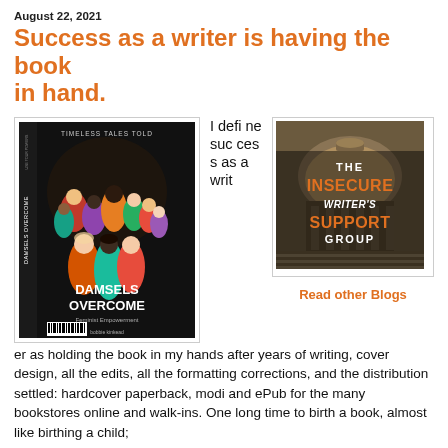August 22, 2021
Success as a writer is having the book in hand.
[Figure (illustration): Book cover for 'Damsels Overcome: Feminist Empowerment' by Bobbie Kinkead, published under 'Timeless Tales Told'. Features colorful illustrated women on the cover against a dark background.]
I define success as a writer as holding the book in my hands after years of writing, cover design, all the edits, all the formatting corrections, and the distribution settled: hardcover paperback, modi and ePub for the many bookstores online and walk-ins. One long time to birth a book, almost like birthing a child;
[Figure (logo): The Insecure Writer's Support Group logo — circular dome background with orange and white text reading 'THE INSECURE WRITER'S SUPPORT GROUP']
Read other Blogs